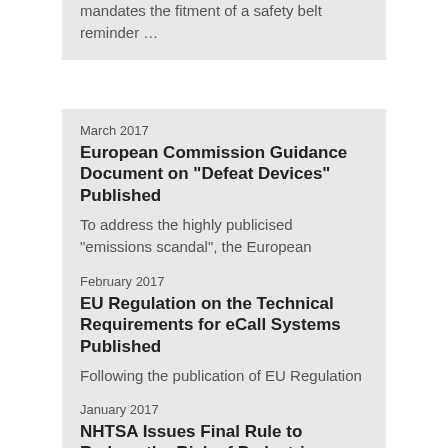mandates the fitment of a safety belt reminder …
March 2017
European Commission Guidance Document on "Defeat Devices" Published
To address the highly publicised "emissions scandal", the European Commission have instigated a number of changes to the European Union's legal requirements on emissions …
February 2017
EU Regulation on the Technical Requirements for eCall Systems Published
Following the publication of EU Regulation No. 2015/758, which mandated the fitment of in-vehicle eCall systems to all new types of M1 and N1 category vehicle from 31st …
January 2017
NHTSA Issues Final Rule to Reduce the Risk of Pedestrian Crashes by